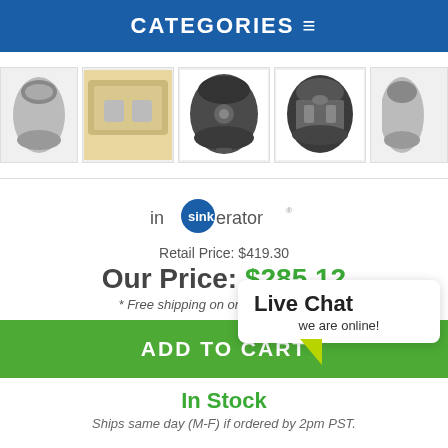CATEGORIES ≡
[Figure (photo): Row of product thumbnail images showing InSinkErator garbage disposal units from multiple angles including installed view and cutaway view]
[Figure (logo): InSinkErator brand logo with blue circle containing 'sink' text]
Retail Price: $419.30
Our Price: $285.12
* Free shipping on orders over $199.
ADD TO CART
Live Chat
we are online!
In Stock
Ships same day (M-F) if ordered by 2pm PST.